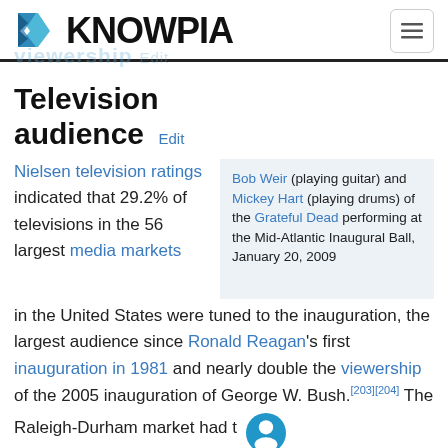KNOWPIA
Television audience  Edit
Nielsen television ratings indicated that 29.2% of televisions in the 56 largest media markets in the United States were tuned to the inauguration, the largest audience since Ronald Reagan's first inauguration in 1981 and nearly double the viewership of the 2005 inauguration of George W. Bush.[203][204] The Raleigh-Durham market had the largest TV audience with more than 51% of households tuning in to the inauguration.
[Figure (photo): Photo of Bob Weir (playing guitar) and Mickey Hart (playing drums) of the Grateful Dead performing at the Mid-Atlantic Inaugural Ball, January 20, 2009]